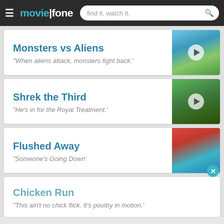moviefone — find it. watch it.
Monsters vs Aliens
"When aliens attack, monsters fight back.'
[Figure (photo): Monsters vs Aliens movie poster thumbnail]
Shrek the Third
"He's in for the Royal Treatment.'
[Figure (photo): Shrek the Third movie poster thumbnail]
Flushed Away
"Someone's Going Down'
[Figure (photo): Flushed Away movie poster thumbnail]
Chicken Run
"This ain't no chick flick. It's poultry in motion.'